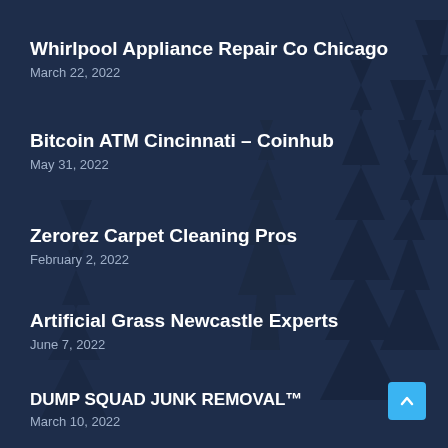[Figure (illustration): Dark navy blue background with faint pine/fir tree silhouettes in a slightly darker blue-green tone, creating a forested night scene texture.]
Whirlpool Appliance Repair Co Chicago
March 22, 2022
Bitcoin ATM Cincinnati – Coinhub
May 31, 2022
Zerorez Carpet Cleaning Pros
February 2, 2022
Artificial Grass Newcastle Experts
June 7, 2022
DUMP SQUAD JUNK REMOVAL™
March 10, 2022